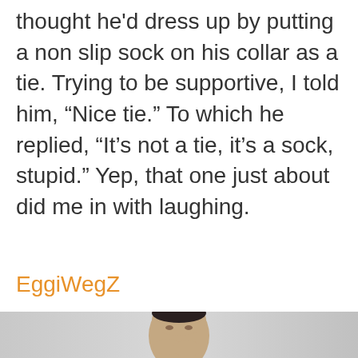thought he'd dress up by putting a non slip sock on his collar as a tie. Trying to be supportive, I told him, “Nice tie.” To which he replied, “It’s not a tie, it’s a sock, stupid.” Yep, that one just about did me in with laughing.
EggiWegZ
[Figure (photo): A young man with short dark hair laughing and covering his mouth/nose with his hands, against a grey gradient background.]